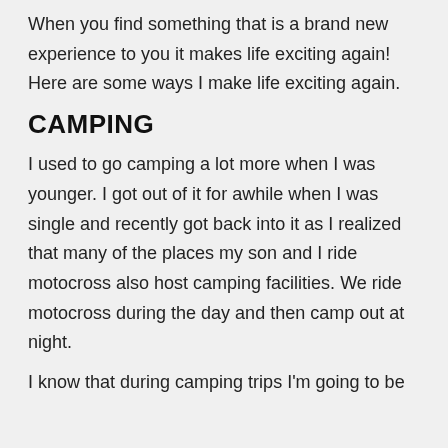When you find something that is a brand new experience to you it makes life exciting again! Here are some ways I make life exciting again.
CAMPING
I used to go camping a lot more when I was younger. I got out of it for awhile when I was single and recently got back into it as I realized that many of the places my son and I ride motocross also host camping facilities. We ride motocross during the day and then camp out at night.
I know that during camping trips I'm going to be